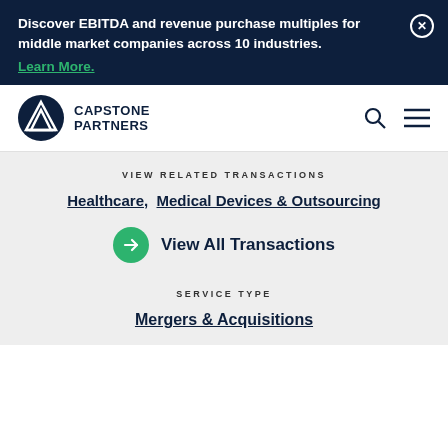Discover EBITDA and revenue purchase multiples for middle market companies across 10 industries. Learn More.
[Figure (logo): Capstone Partners logo with mountain icon and bold text]
VIEW RELATED TRANSACTIONS
Healthcare,  Medical Devices & Outsourcing
View All Transactions
SERVICE TYPE
Mergers & Acquisitions